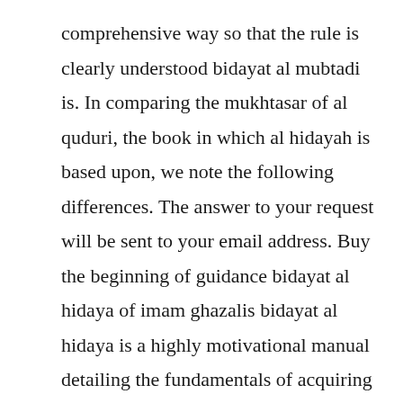comprehensive way so that the rule is clearly understood bidayat al mubtadi is. In comparing the mukhtasar of al quduri, the book in which al hidayah is based upon, we note the following differences. The answer to your request will be sent to your email address. Buy the beginning of guidance bidayat al hidaya of imam ghazalis bidayat al hidaya is a highly motivational manual detailing the fundamentals of acquiring guidance through godconsciousness taqwa. Dengan blog ini, diharapkan guru ngaji